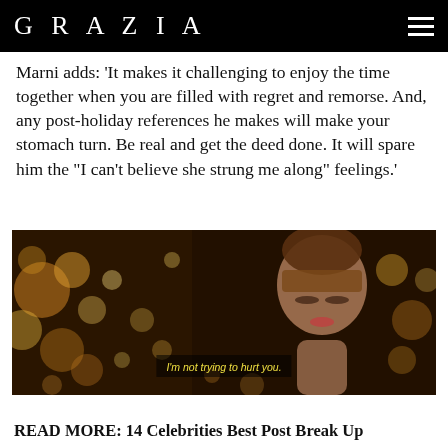GRAZIA
Marni adds: 'It makes it challenging to enjoy the time together when you are filled with regret and remorse. And, any post-holiday references he makes will make your stomach turn. Be real and get the deed done. It will spare him the "I can't believe she strung me along" feelings.'
[Figure (photo): A woman with her eyes closed, hair up, wearing earrings, surrounded by warm bokeh lights in a night scene. Subtitle reads: I'm not trying to hurt you.]
READ MORE: 14 Celebrities Best Post Break Up